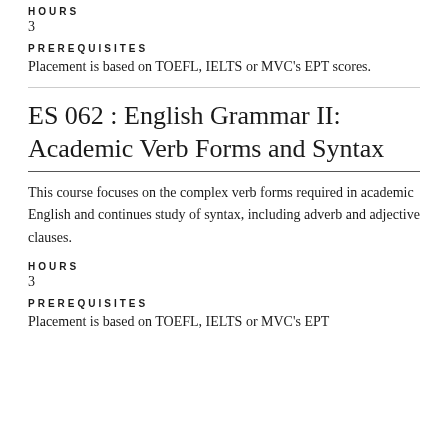HOURS
3
PREREQUISITES
Placement is based on TOEFL, IELTS or MVC's EPT scores.
ES 062 : English Grammar II: Academic Verb Forms and Syntax
This course focuses on the complex verb forms required in academic English and continues study of syntax, including adverb and adjective clauses.
HOURS
3
PREREQUISITES
Placement is based on TOEFL, IELTS or MVC's EPT